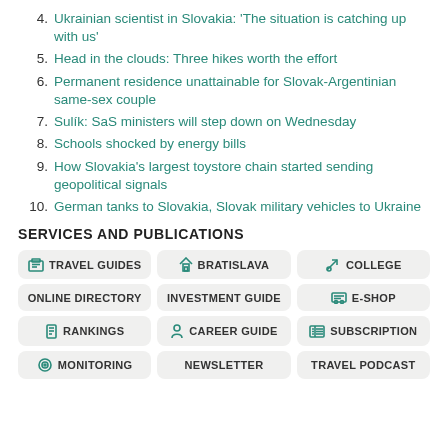4. Ukrainian scientist in Slovakia: 'The situation is catching up with us'
5. Head in the clouds: Three hikes worth the effort
6. Permanent residence unattainable for Slovak-Argentinian same-sex couple
7. Sulík: SaS ministers will step down on Wednesday
8. Schools shocked by energy bills
9. How Slovakia's largest toystore chain started sending geopolitical signals
10. German tanks to Slovakia, Slovak military vehicles to Ukraine
SERVICES AND PUBLICATIONS
TRAVEL GUIDES | BRATISLAVA | COLLEGE | ONLINE DIRECTORY | INVESTMENT GUIDE | E-SHOP | RANKINGS | CAREER GUIDE | SUBSCRIPTION | MONITORING | NEWSLETTER | TRAVEL PODCAST